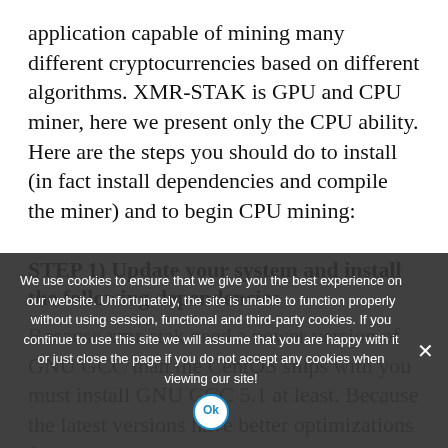application capable of mining many different cryptocurrencies based on different algorithms. XMR-STAK is GPU and CPU miner, here we present only the CPU ability. Here are the steps you should do to install (in fact install dependencies and compile the miner) and to begin CPU mining:
STEP 1) Update your system and install the following dependencies
Because xmr-stak need a newer version of GNU GCC than the CentOS ships with you must install GNU GCC 5.1 at least. Because the latest versions have better optimizations for the processor you have GNU GCC 7 for...
We use cookies to ensure that we give you the best experience on our website. Unfortunately, the site is unable to function properly without using session, functional and third-party cookies. If you continue to use this site we will assume that you are happy with it or just close the page if you do not accept any cookies when viewing our site!